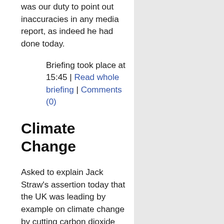was our duty to point out inaccuracies in any media report, as indeed he had done today.
Briefing took place at 15:45 | Read whole briefing | Comments (0)
Climate Change
Asked to explain Jack Straw's assertion today that the UK was leading by example on climate change by cutting carbon dioxide emissions when Margaret Beckett had announced yesterday that allowances for carbon dioxide emissions were